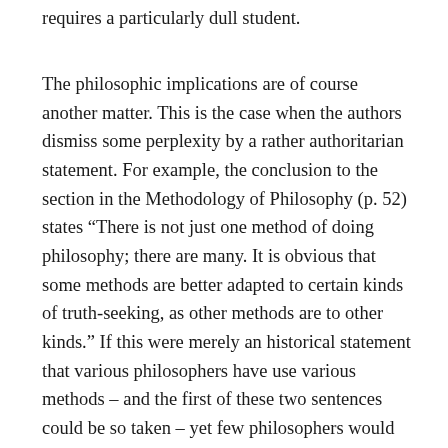requires a particularly dull student.
The philosophic implications are of course another matter. This is the case when the authors dismiss some perplexity by a rather authoritarian statement. For example, the conclusion to the section in the Methodology of Philosophy (p. 52) states “There is not just one method of doing philosophy; there are many. It is obvious that some methods are better adapted to certain kinds of truth-seeking, as other methods are to other kinds.” If this were merely an historical statement that various philosophers have use various methods – and the first of these two sentences could be so taken – yet few philosophers would accept the second sentence as obvious. Instead of making such an assertion so dogmatically one who